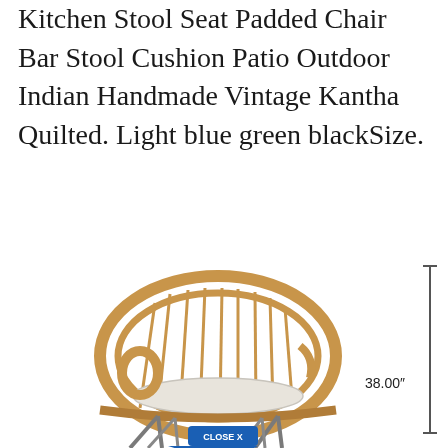Kitchen Stool Seat Padded Chair Bar Stool Cushion Patio Outdoor Indian Handmade Vintage Kantha Quilted. Light blue green blackSize.
[Figure (photo): Rattan woven bar stool chair with white cushion seat and metal hairpin legs, shown with a vertical dimension line indicating 38.00 inches height. A blue 'CLOSE X' button overlay is visible at the bottom center.]